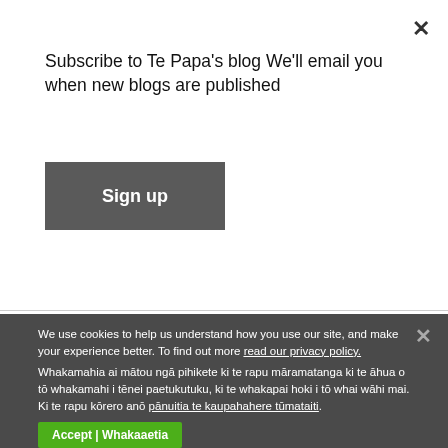Subscribe to Te Papa's blog We'll email you when new blogs are published
Sign up
[Figure (photo): Photo of a person with dark hair from behind, in a room with a lamp and shelving with boxes/books in the background]
We use cookies to help us understand how you use our site, and make your experience better. To find out more read our privacy policy.
Whakamahia ai mātou ngā pihikete ki te rapu māramatanga ki te āhua o tō whakamahi i tēnei paetukutuku, ki te whakapai hoki i tō whai wāhi mai. Ki te rapu kōrero anō pānuitia te kaupahahere tūmataiti.
Accept | Whakaaetia